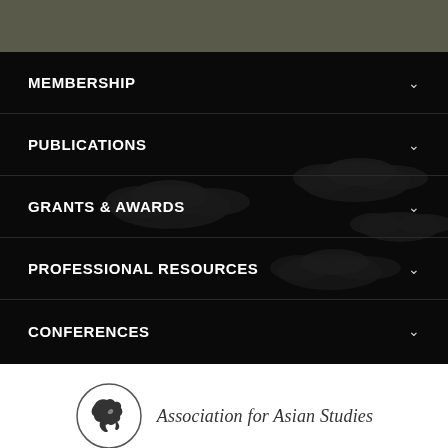[Figure (screenshot): Dark top navigation bar area with grey-green background]
MEMBERSHIP
PUBLICATIONS
GRANTS & AWARDS
PROFESSIONAL RESOURCES
CONFERENCES
[Figure (logo): Association for Asian Studies logo with globe icon in circle and italic text]